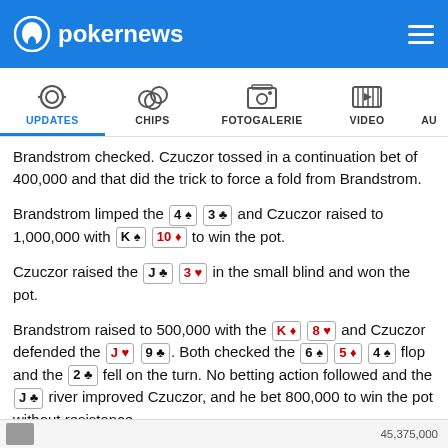pokernews
[Figure (screenshot): Navigation tabs: UPDATES (active, underlined blue), CHIPS, FOTOGALERIE, VIDEO, AU...]
Brandstrom checked. Czuczor tossed in a continuation bet of 400,000 and that did the trick to force a fold from Brandstrom.
Brandstrom limped the 4♠ 3♣ and Czuczor raised to 1,000,000 with K♠ 10♦ to win the pot.
Czuczor raised the J♣ 3♥ in the small blind and won the pot.
Brandstrom raised to 500,000 with the K♦ 8♥ and Czuczor defended the J♥ 9♣. Both checked the 6♠ 5♦ 4♠ flop and the 2♣ fell on the turn. No betting action followed and the J♣ river improved Czuczor, and he bet 800,000 to win the pot without resistance.